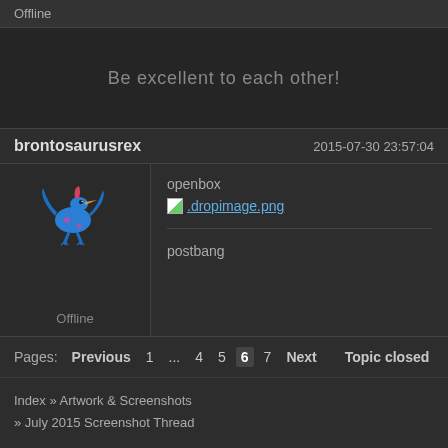Offline
Be excellent to each other!
brontosaurusrex   2015-07-30 23:57:04
[Figure (illustration): Blue pixel-art pterodactyl dinosaur avatar]
openbox
[Figure (screenshot): Broken image placeholder icon next to link text .dropimage.png]
postbang
Offline
Pages: Previous 1 ... 4 5 6 7 Next   Topic closed
Index » Artwork & Screenshots
» July 2015 Screenshot Thread